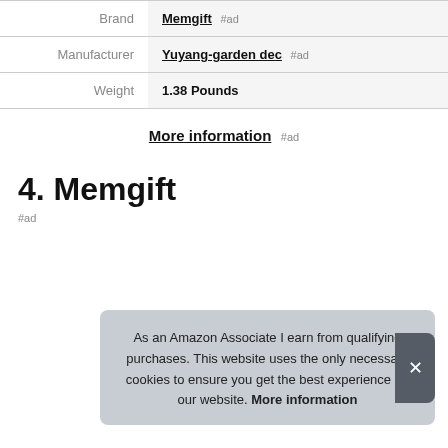|  |  |
| --- | --- |
| Brand | Memgift #ad |
| Manufacturer | Yuyang-garden dec #ad |
| Weight | 1.38 Pounds |
More information #ad
4. Memgift
#ad
As an Amazon Associate I earn from qualifying purchases. This website uses the only necessary cookies to ensure you get the best experience on our website. More information